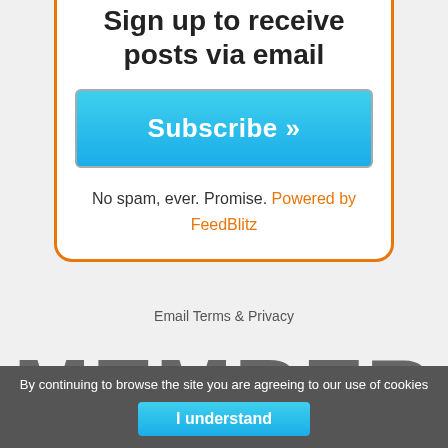Sign up to receive posts via email
[Figure (screenshot): Subscribe button — a large blue gradient button with white text reading 'Subscribe »']
No spam, ever. Promise. Powered by FeedBlitz
Email Terms & Privacy
MEMBER
By continuing to browse the site you are agreeing to our use of cookies
[Figure (screenshot): I understand button — blue gradient button with white bold text]